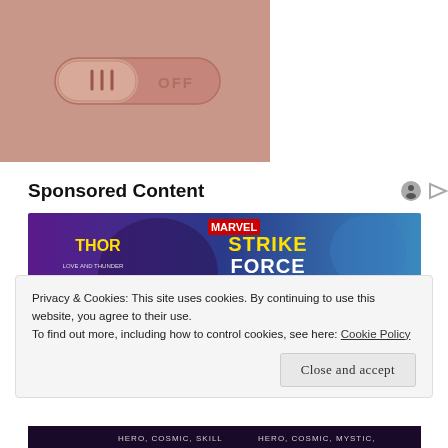[Figure (photo): Product photo: a rose gold toggle switch/button showing III on the left and OFF on the right, on a pink/mauve background]
Sponsored Content
[Figure (photo): Marvel Strike Force advertisement banner showing animated characters from Thor: Love and Thunder, with Marvel Strike Force logo, purple/blue background]
Privacy & Cookies: This site uses cookies. By continuing to use this website, you agree to their use.
To find out more, including how to control cookies, see here: Cookie Policy
Close and accept
[Figure (photo): Bottom portion of Marvel Strike Force ad showing hero character labels: HERO, COSMIC, SKILL on left and HERO, COSMIC, MYSTIC on right]